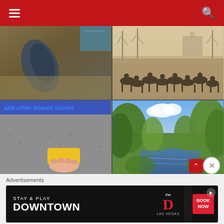Navigation header with hamburger menu and search icon
[Figure (photo): Close-up of dark blue-gray marks or imprints on rocky sandy surface near water]
[Figure (photo): Sepia historical photograph of cavalry soldiers on horseback gathered in a field with bare trees and buildings in background]
[Figure (photo): Image with overlay text 'and other shared stories' in blue, showing a hand holding a yellow sponge on a gray surface]
[Figure (photo): Color photo of a serene creek or river with green leafy trees on banks under a blue sky with clouds]
Advertisements
[Figure (screenshot): Advertisement banner: STAY & PLAY DOWNTOWN - The D Las Vegas - BOOK NOW]